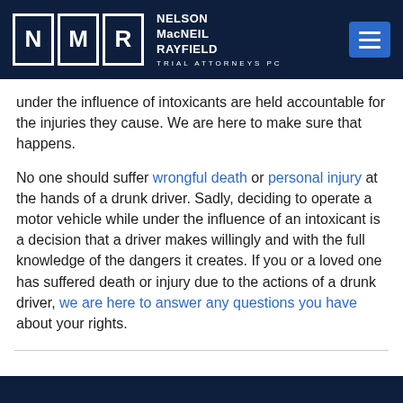[Figure (logo): Nelson MacNeil Rayfield Trial Attorneys PC logo with NMR letter boxes on dark navy background]
under the influence of intoxicants are held accountable for the injuries they cause. We are here to make sure that happens.
No one should suffer wrongful death or personal injury at the hands of a drunk driver. Sadly, deciding to operate a motor vehicle while under the influence of an intoxicant is a decision that a driver makes willingly and with the full knowledge of the dangers it creates. If you or a loved one has suffered death or injury due to the actions of a drunk driver, we are here to answer any questions you have about your rights.